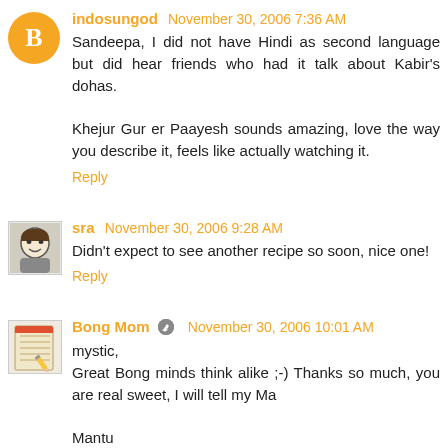indosungod November 30, 2006 7:36 AM
Sandeepa, I did not have Hindi as second language but did hear friends who had it talk about Kabir's dohas.

Khejur Gur er Paayesh sounds amazing, love the way you describe it, feels like actually watching it.
Reply
sra November 30, 2006 9:28 AM
Didn't expect to see another recipe so soon, nice one!
Reply
Bong Mom November 30, 2006 10:01 AM
mystic,
Great Bong minds think alike ;-) Thanks so much, you are real sweet, I will tell my Ma

Mantu